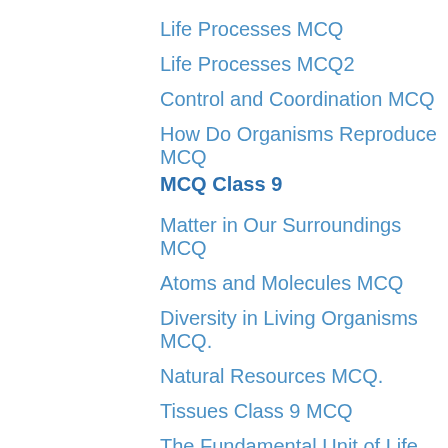Life Processes MCQ
Life Processes MCQ2
Control and Coordination MCQ
How Do Organisms Reproduce MCQ
MCQ Class 9
Matter in Our Surroundings MCQ
Atoms and Molecules MCQ
Diversity in Living Organisms MCQ.
Natural Resources MCQ.
Tissues Class 9 MCQ
The Fundamental Unit of Life MCQ
Why do we fall ill MCQ
MCQ Class 8